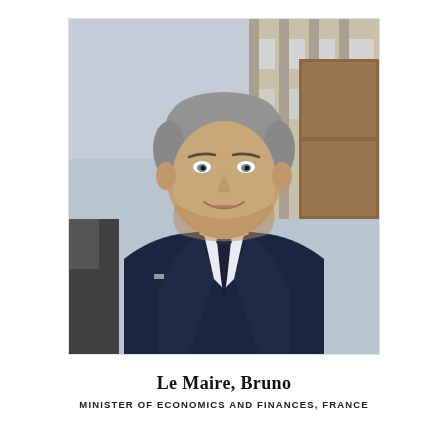[Figure (photo): Portrait photograph of Bruno Le Maire, a middle-aged man with grey hair wearing a navy blue suit and navy tie, smiling, photographed outdoors in front of a building]
Le Maire, Bruno
MINISTER OF ECONOMICS AND FINANCES, FRANCE